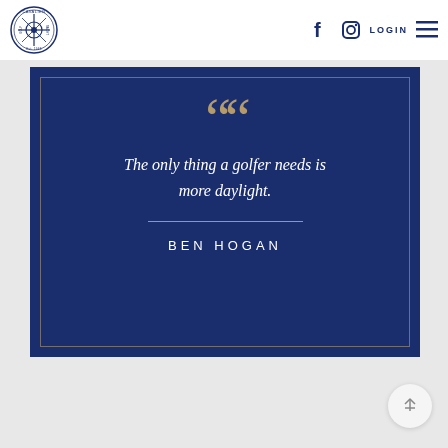[Figure (logo): Cavalier Golf & Yacht Club circular logo with navy blue emblem, Est. 1948]
f  [Instagram icon]  LOGIN  [Hamburger menu]
[Figure (illustration): Navy blue quote card with thin gold inner border. Large gold decorative opening quotation marks at top. Italic white text quote: 'The only thing a golfer needs is more daylight.' followed by a thin horizontal divider line and attribution 'BEN HOGAN' in spaced uppercase white letters.]
The only thing a golfer needs is more daylight.
BEN HOGAN